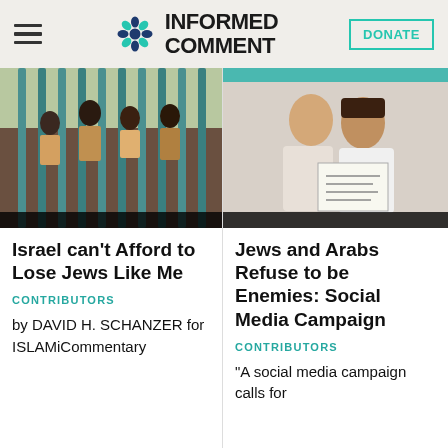INFORMED COMMENT
[Figure (photo): Crowd of people behind green metal bars/fence]
Israel can't Afford to Lose Jews Like Me
CONTRIBUTORS
by DAVID H. SCHANZER for ISLAMiCommentary
[Figure (photo): Couple kissing while holding a sign, with teal banner at top]
Jews and Arabs Refuse to be Enemies: Social Media Campaign
CONTRIBUTORS
“A social media campaign calls for